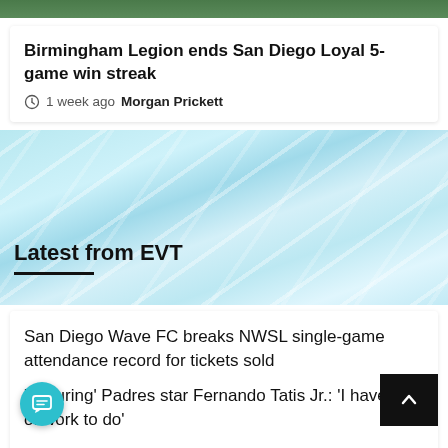[Figure (photo): Dark green grass/field top strip image]
Birmingham Legion ends San Diego Loyal 5-game win streak
1 week ago  Morgan Prickett
[Figure (photo): Light blue swirling abstract background with Latest from EVT section header]
Latest from EVT
San Diego Wave FC breaks NWSL single-game attendance record for tickets sold
‘Maturing’ Padres star Fernando Tatis Jr.: ‘I have a lot of work to do’
e to appreciate Padres versatile hurler Nick Martinez